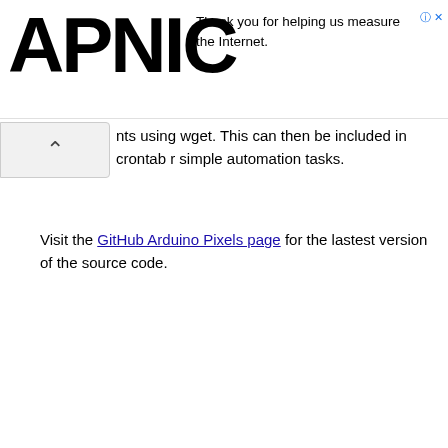[Figure (logo): APNIC logo in bold black text]
Thank you for helping us measure the Internet.
nts using wget. This can then be included in crontab r simple automation tasks.
Visit the GitHub Arduino Pixels page for the lastest version of the source code.